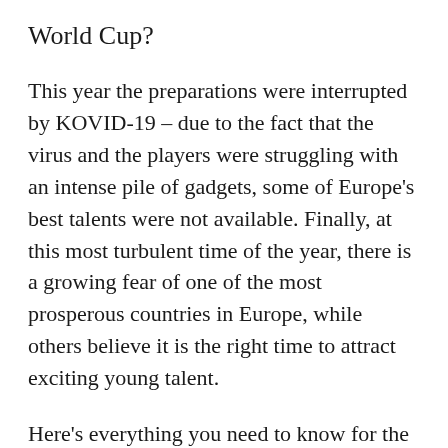World Cup?
This year the preparations were interrupted by KOVID-19 – due to the fact that the virus and the players were struggling with an intense pile of gadgets, some of Europe's best talents were not available. Finally, at this most turbulent time of the year, there is a growing fear of one of the most prosperous countries in Europe, while others believe it is the right time to attract exciting young talent.
Here's everything you need to know for the last two rounds of the League of Nations